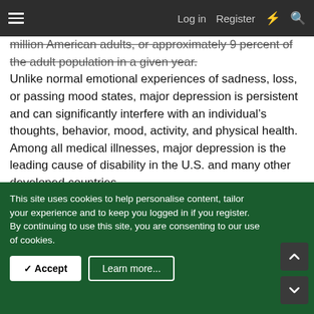≡   Log in   Register  ⚡  🔍
million American adults, or approximately 9 percent of the adult population in a given year. Unlike normal emotional experiences of sadness, loss, or passing mood states, major depression is persistent and can significantly interfere with an individual's thoughts, behavior, mood, activity, and physical health. Among all medical illnesses, major depression is the leading cause of disability in the U.S. and many other developed countries.
More than twice as many women (6.7 million) as men (3.2 million) suffer from major depressive disorder each year. Major depression can occur at any age including childhood, the teenage years and adulthood. All ethnic, racial and socioeconomic groups suffer from depression. About three-
This site uses cookies to help personalise content, tailor your experience and to keep you logged in if you register.
By continuing to use this site, you are consenting to our use of cookies.